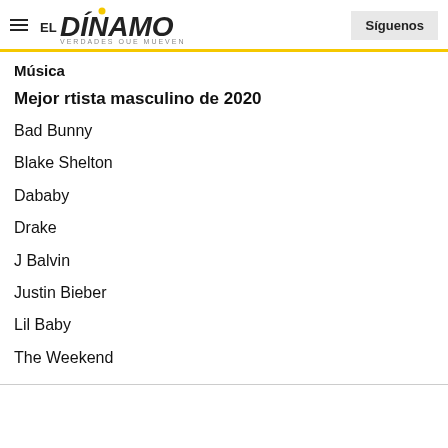EL DINAMO — VERDADES QUE MUEVEN | Síguenos
Música
Mejor rtista masculino de 2020
Bad Bunny
Blake Shelton
Dababy
Drake
J Balvin
Justin Bieber
Lil Baby
The Weekend